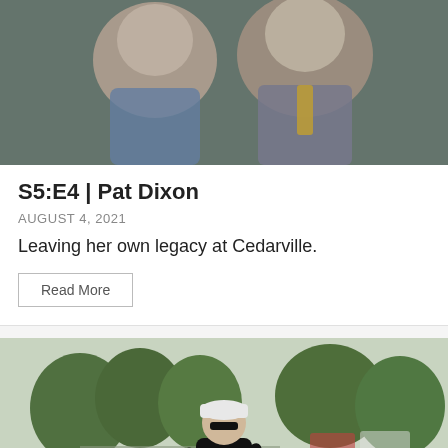[Figure (photo): A smiling older woman in a blue outfit and an older man in a grey suit with a yellow-striped tie and yellow pocket square at an event.]
S5:E4 | Pat Dixon
AUGUST 4, 2021
Leaving her own legacy at Cedarville.
Read More
[Figure (photo): A man in a black athletic outfit, sunglasses, and white cap running in a race on a road with trees and grass in the background.]